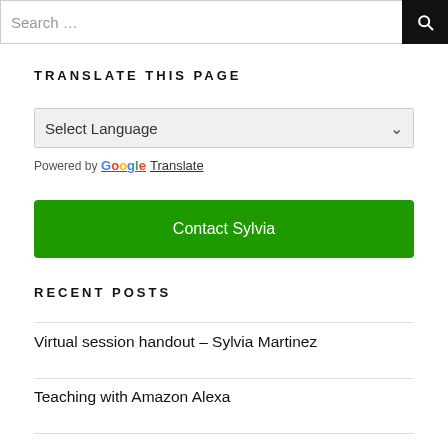[Figure (screenshot): Search bar with text input placeholder 'Search ...' and a black search button with magnifying glass icon]
TRANSLATE THIS PAGE
[Figure (screenshot): Language selector dropdown with 'Select Language' placeholder and chevron, with 'Powered by Google Translate' below]
[Figure (screenshot): Green button labeled 'Contact Sylvia']
RECENT POSTS
Virtual session handout – Sylvia Martinez
Teaching with Amazon Alexa